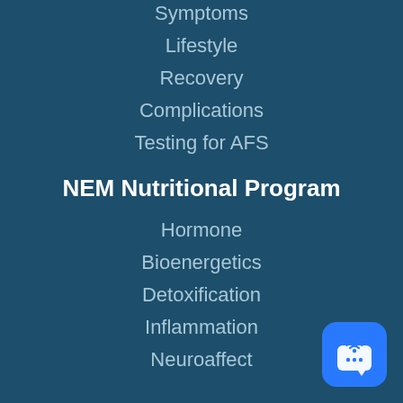Symptoms
Lifestyle
Recovery
Complications
Testing for AFS
NEM Nutritional Program
Hormone
Bioenergetics
Detoxification
Inflammation
Neuroaffect
[Figure (illustration): Blue chat/broadcast widget icon in the bottom right corner]